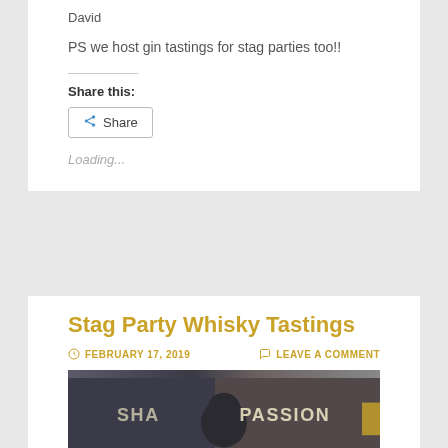David
PS we host gin tastings for stag parties too!!
Share this:
Share
Loading...
Stag Party Whisky Tastings
FEBRUARY 17, 2019
LEAVE A COMMENT
[Figure (photo): A person from behind in front of a dark background with text reading 'PASSION']